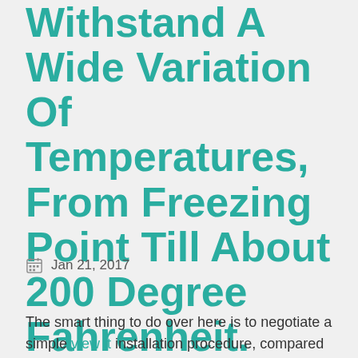Withstand A Wide Variation Of Temperatures, From Freezing Point Till About 200 Degree Fahrenheit.
Jan 21, 2017
The smart thing to do over here is to negotiate a simple view it installation procedure, compared to